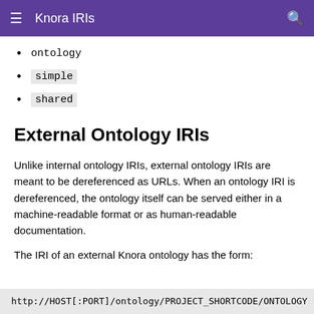Knora IRIs
ontology
simple
shared
External Ontology IRIs
Unlike internal ontology IRIs, external ontology IRIs are meant to be dereferenced as URLs. When an ontology IRI is dereferenced, the ontology itself can be served either in a machine-readable format or as human-readable documentation.
The IRI of an external Knora ontology has the form:
http://HOST[:PORT]/ontology/PROJECT_SHORTCODE/ONTOLOGY